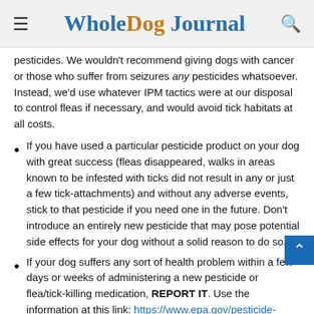Whole Dog Journal
pesticides. We wouldn't recommend giving dogs with cancer or those who suffer from seizures any pesticides whatsoever. Instead, we'd use whatever IPM tactics were at our disposal to control fleas if necessary, and would avoid tick habitats at all costs.
If you have used a particular pesticide product on your dog with great success (fleas disappeared, walks in areas known to be infested with ticks did not result in any or just a few tick-attachments) and without any adverse events, stick to that pesticide if you need one in the future. Don't introduce an entirely new pesticide that may pose potential side effects for your dog without a solid reason to do so.
If your dog suffers any sort of health problem within a few days or weeks of administering a new pesticide or flea/tick-killing medication, REPORT IT. Use the information at this link: https://www.epa.gov/pesticide-incidents/report-